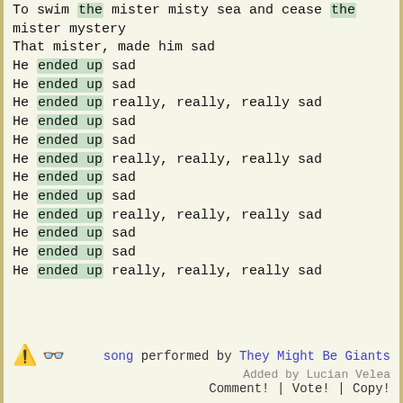To swim the mister misty sea and cease the mister mystery
That mister, made him sad
He ended up sad
He ended up sad
He ended up really, really, really sad
He ended up sad
He ended up sad
He ended up really, really, really sad
He ended up sad
He ended up sad
He ended up really, really, really sad
He ended up sad
He ended up sad
He ended up really, really, really sad
song performed by They Might Be Giants
Added by Lucian Velea
Comment! | Vote! | Copy!